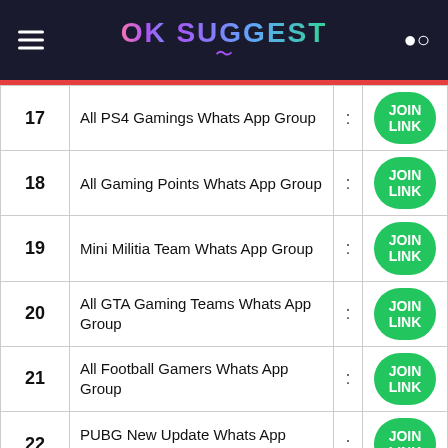OK SUGGEST
| # | Group Name | : | Join |
| --- | --- | --- | --- |
| 17 | All PS4 Gamings Whats App Group | : | JOIN LINK |
| 18 | All Gaming Points Whats App Group | : | JOIN LINK |
| 19 | Mini Militia Team Whats App Group | : | JOIN LINK |
| 20 | All GTA Gaming Teams Whats App Group | : | JOIN LINK |
| 21 | All Football Gamers Whats App Group | : | JOIN LINK |
| 22 | PUBG New Update Whats App Group | : | JOIN LINK |
| 23 | All Gamers Arenas Whats App Group | : | JOIN LINK |
| 24 | All Predator Boys Whats App Group | : | JOIN LINK |